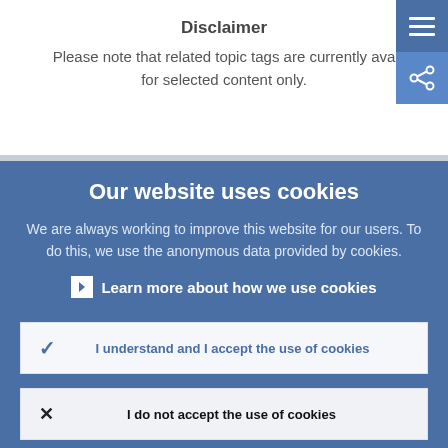Disclaimer
Please note that related topic tags are currently ava for selected content only.
Our website uses cookies
We are always working to improve this website for our users. To do this, we use the anonymous data provided by cookies.
Learn more about how we use cookies
I understand and I accept the use of cookies
I do not accept the use of cookies